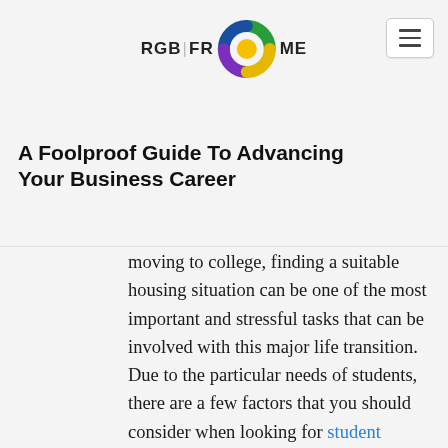RGB|FR ME [logo]
A Foolproof Guide To Advancing Your Business Career
moving to college, finding a suitable housing situation can be one of the most important and stressful tasks that can be involved with this major life transition. Due to the particular needs of students, there are a few factors that you should consider when looking for student apartments for rent.